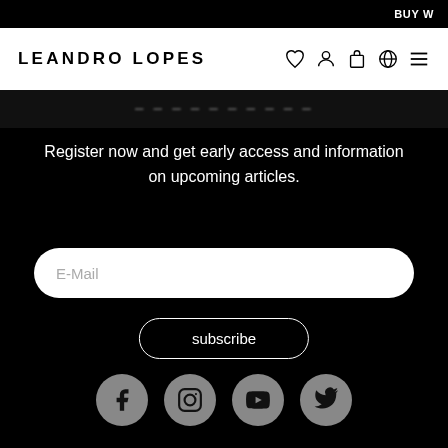BUY W
LEANDRO LOPES
Register now and get early access and information on upcoming articles.
E-Mail
subscribe